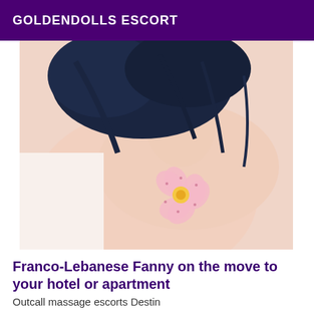GOLDENDOLLS ESCORT
[Figure (photo): A woman with dark curly hair lying down, with a pink flower covering her chest, on a light background.]
Franco-Lebanese Fanny on the move to your hotel or apartment
Outcall massage escorts Destin